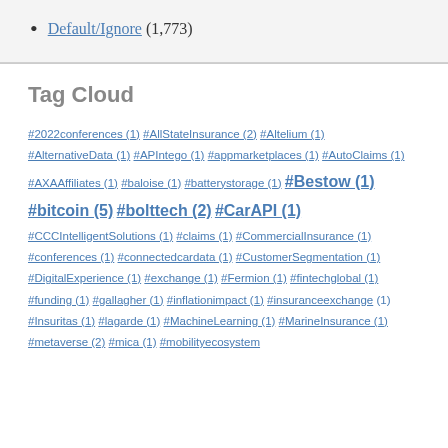Default/Ignore (1,773)
Tag Cloud
#2022conferences (1) #AllStateInsurance (2) #Altelium (1) #AlternativeData (1) #APIntego (1) #appmarketplaces (1) #AutoClaims (1) #AXAAffiliates (1) #baloise (1) #batterystorage (1) #Bestow (1) #bitcoin (5) #bolttech (2) #CarAPI (1) #CCCIntelligentSolutions (1) #claims (1) #CommercialInsurance (1) #conferences (1) #connectedcardata (1) #CustomerSegmentation (1) #DigitalExperience (1) #exchange (1) #Fermion (1) #fintechglobal (1) #funding (1) #gallagher (1) #inflationimpact (1) #insuranceexchange (1) #Insuritas (1) #lagarde (1) #MachineLearning (1) #MarineInsurance (1) #metaverse (2) #mica (1) #mobilityecosystem